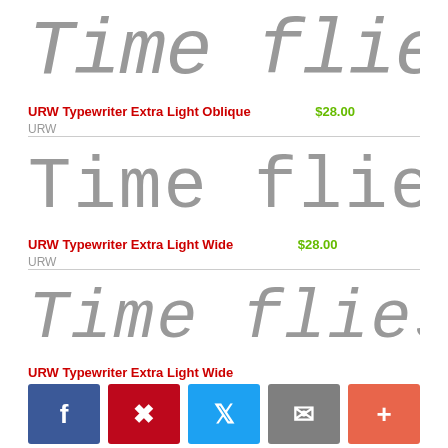[Figure (illustration): Large italic typewriter-style text preview reading 'Time flies like an ar' (clipped), displayed in light gray]
URW Typewriter Extra Light Oblique    $28.00
URW
[Figure (illustration): Large regular wide typewriter-style text preview reading 'Time flies like an a:' (clipped), displayed in light gray]
URW Typewriter Extra Light Wide    $28.00
URW
[Figure (illustration): Large italic wide typewriter-style text preview reading 'Time flies like an ar' (clipped), displayed in light gray]
URW Typewriter Extra Light Wide Oblique    $28.00
[Figure (infographic): Social sharing button bar with Facebook, Pinterest, Twitter, email, and plus icons]